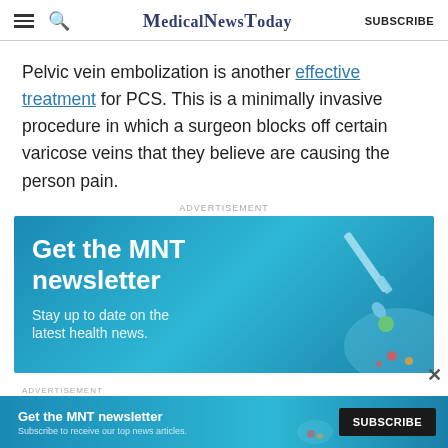MedicalNewsToday | SUBSCRIBE
Pelvic vein embolization is another effective treatment for PCS. This is a minimally invasive procedure in which a surgeon blocks off certain varicose veins that they believe are causing the person pain.
[Figure (photo): Advertisement banner for MNT newsletter: blue background with dropper/pipette illustration, bold white text 'Get the MNT newsletter', subtext 'Stay up to date on the latest health news.']
[Figure (photo): Bottom advertisement bar: blue background with MNT newsletter ad, 'Get the MNT newsletter', 'Subscribe to receive our top news articles.', and a dark SUBSCRIBE button on the right.]